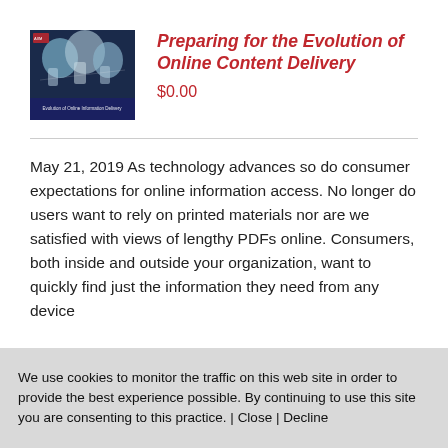[Figure (illustration): Book cover thumbnail for 'Preparing for the Evolution of Online Content Delivery' showing a dark blue cover with white/gray figures and text at the bottom]
Preparing for the Evolution of Online Content Delivery
$0.00
May 21, 2019 As technology advances so do consumer expectations for online information access. No longer do users want to rely on printed materials nor are we satisfied with views of lengthy PDFs online. Consumers, both inside and outside your organization, want to quickly find just the information they need from any device
We use cookies to monitor the traffic on this web site in order to provide the best experience possible. By continuing to use this site you are consenting to this practice. | Close | Decline